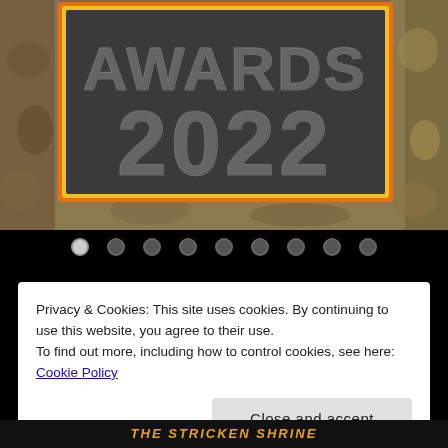[Figure (photo): Awards 2022 plaque with orange/yellow border on a rocky stone background. Text reads AWARDS 2022 in large metallic grey embossed lettering on a dark grey plate.]
Carousel navigation dots: 9 dots, first one active (white), rest inactive (grey)
Privacy & Cookies: This site uses cookies. By continuing to use this website, you agree to their use.
To find out more, including how to control cookies, see here: Cookie Policy
Close and accept